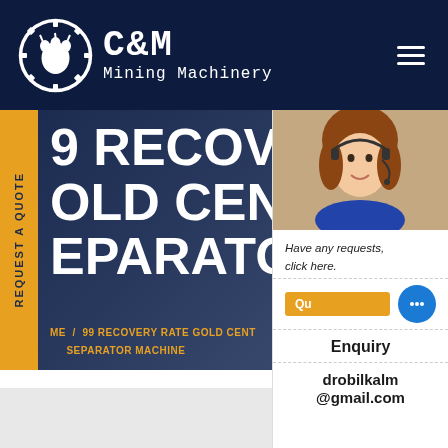[Figure (logo): C&M Mining Machinery logo with gear/claw icon and text]
99 RECOVERY RATE GOLD CENTRIFUGAL SEPARATOR MACHINE
REQUEST A QUOTE
Have any requests, click here.
Qu...
Enquiry
drobilkalm@gmail.com
ME / 99 RECOVERY RATE GOLD CENTRIFUGAL SEPARATOR MACHINE